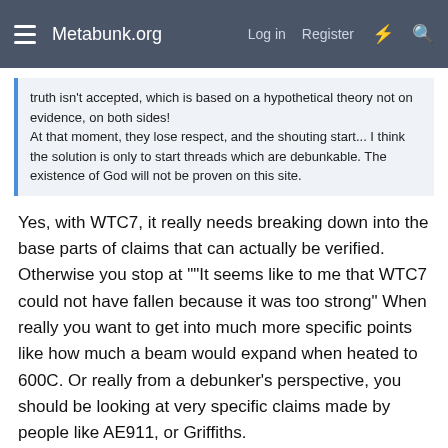Metabunk.org  Log in  Register
truth isn't accepted, which is based on a hypothetical theory not on evidence, on both sides!
At that moment, they lose respect, and the shouting start... I think the solution is only to start threads which are debunkable. The existence of God will not be proven on this site.
Yes, with WTC7, it really needs breaking down into the base parts of claims that can actually be verified. Otherwise you stop at ""It seems like to me that WTC7 could not have fallen because it was too strong" When really you want to get into much more specific points like how much a beam would expand when heated to 600C. Or really from a debunker's perspective, you should be looking at very specific claims made by people like AE911, or Griffiths.
1
Clock
Senior Member.